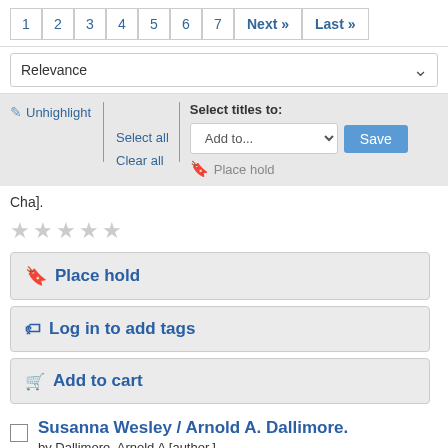1 2 3 4 5 6 7 Next » Last »
Relevance
✏ Unhighlight | | Select titles to: Select all Add to... Save Clear all 🔖 Place hold
Cha].
★★★★★ (empty stars)
🔖 Place hold
🏷 Log in to add tags
🛒 Add to cart
Susanna Wesley / Arnold A. Dallimore.
by Dallimore, Arnold A [author.].
Publisher: Grand Rapids, Michigan, USA : Baker Book House, [1993]